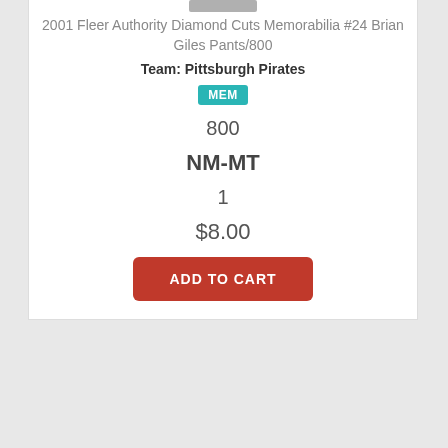2001 Fleer Authority Diamond Cuts Memorabilia #24 Brian Giles Pants/800
Team: Pittsburgh Pirates
MEM
800
NM-MT
1
$8.00
ADD TO CART
We use cookies to help personalize content, tailor and measure ads, and provide a safer experience. By navigating the site, you agree to the use of cookies to collect information. Read our Cookie Policy.
Accept & Close